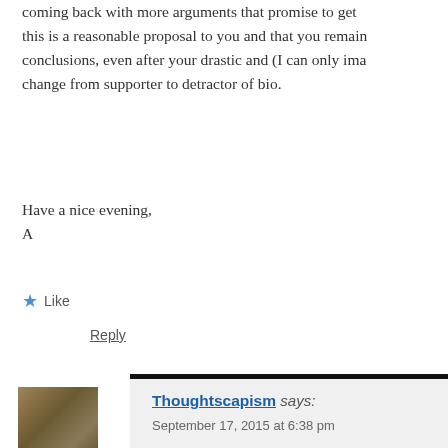coming back with more arguments that promise to get this is a reasonable proposal to you and that you remain conclusions, even after your drastic and (I can only ima change from supporter to detractor of bio.
Have a nice evening,
A
★ Like
Reply
Thoughtscapism says:
September 17, 2015 at 6:38 pm
Hello again Andreea! I hope you are well!
On several occasions during past couple of them organic farmers, to point me in the di missed on the environmental impacts of org